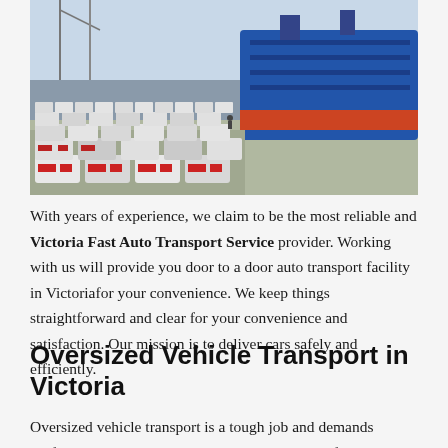[Figure (photo): Aerial view of a large port/dock area filled with rows of white cars, with a large blue cargo ship in the background]
With years of experience, we claim to be the most reliable and Victoria Fast Auto Transport Service provider. Working with us will provide you door to a door auto transport facility in Victoriafor your convenience. We keep things straightforward and clear for your convenience and satisfaction. Our mission is to deliver cars safely and efficiently.
Oversized Vehicle Transport in Victoria
Oversized vehicle transport is a tough job and demands professional and experienced assistance. The professionals